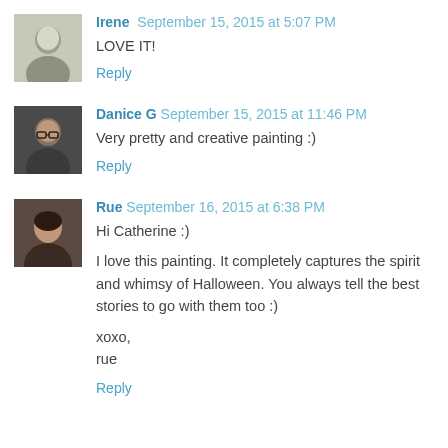[Figure (photo): Small black and white avatar photo of Irene]
Irene September 15, 2015 at 5:07 PM
LOVE IT!
Reply
[Figure (photo): Small avatar photo of Danice G wearing glasses]
Danice G September 15, 2015 at 11:46 PM
Very pretty and creative painting :)
Reply
[Figure (photo): Small avatar photo of Rue]
Rue September 16, 2015 at 6:38 PM
Hi Catherine :)

I love this painting. It completely captures the spirit and whimsy of Halloween. You always tell the best stories to go with them too :)

xoxo,
rue
Reply